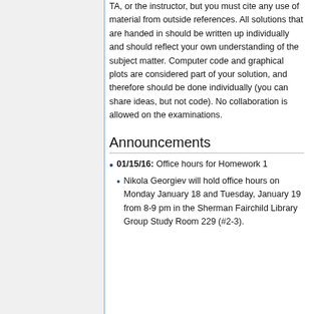TA, or the instructor, but you must cite any use of material from outside references. All solutions that are handed in should be written up individually and should reflect your own understanding of the subject matter. Computer code and graphical plots are considered part of your solution, and therefore should be done individually (you can share ideas, but not code). No collaboration is allowed on the examinations.
Announcements
01/15/16: Office hours for Homework 1
Nikola Georgiev will hold office hours on Monday January 18 and Tuesday, January 19 from 8-9 pm in the Sherman Fairchild Library Group Study Room 229 (#2-3).